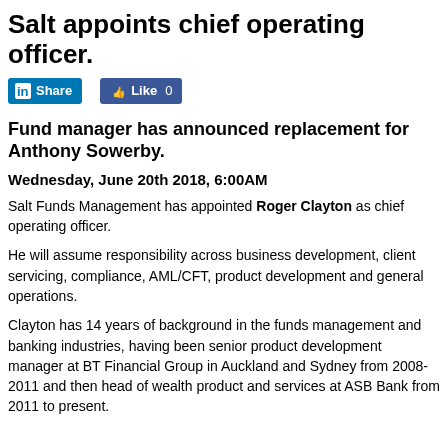Salt appoints chief operating officer.
[Figure (other): LinkedIn Share button and Facebook Like 0 button]
Fund manager has announced replacement for Anthony Sowerby.
Wednesday, June 20th 2018, 6:00AM
Salt Funds Management has appointed Roger Clayton as chief operating officer.
He will assume responsibility across business development, client servicing, compliance, AML/CFT, product development and general operations.
Clayton has 14 years of background in the funds management and banking industries, having been senior product development manager at BT Financial Group in Auckland and Sydney from 2008-2011 and then head of wealth product and services at ASB Bank from 2011 to present.